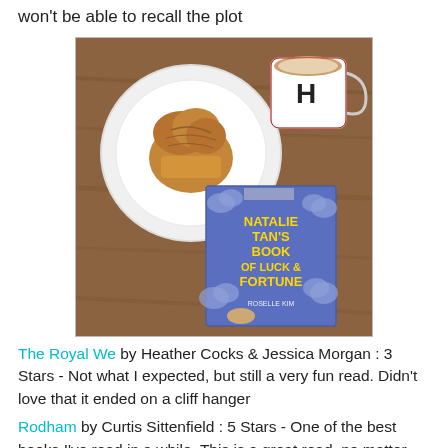won't be able to recall the plot
[Figure (photo): Overhead view of a wooden table with a white plate holding a muffin/scone, a mug with letter H, and the book 'Natalie Tan's Book of Luck & Fortune by Roselle Kim']
The Royal We by Heather Cocks & Jessica Morgan : 3 Stars - Not what I expected, but still a very fun read. Didn't love that it ended on a cliff hanger
Rodham by Curtis Sittenfield : 5 Stars - One of the best books I've read in a while. This is a great read, no matter